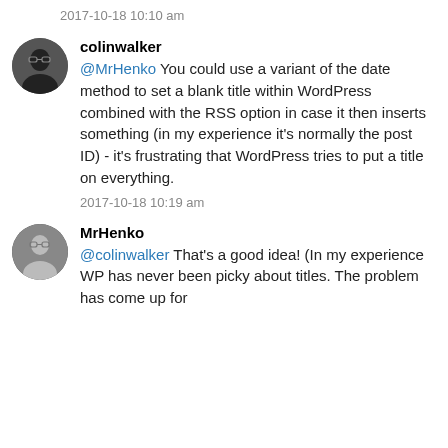2017-10-18 10:10 am
colinwalker
@MrHenko You could use a variant of the date method to set a blank title within WordPress combined with the RSS option in case it then inserts something (in my experience it’s normally the post ID) - it’s frustrating that WordPress tries to put a title on everything.
2017-10-18 10:19 am
MrHenko
@colinwalker That's a good idea! (In my experience WP has never been picky about titles. The problem has come up for